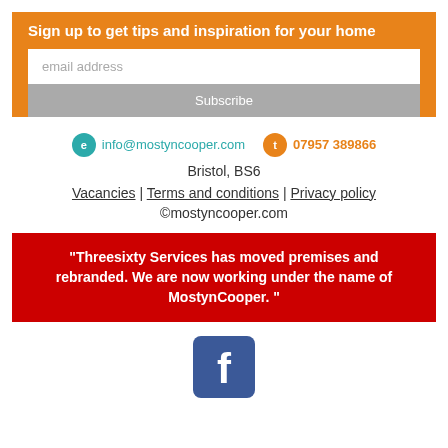Sign up to get tips and inspiration for your home
email address
Subscribe
info@mostyncooper.com
07957 389866
Bristol, BS6
Vacancies | Terms and conditions | Privacy policy
©mostyncooper.com
“Threesixty Services has moved premises and rebranded. We are now working under the name of MostynCooper. ”
[Figure (logo): Facebook logo icon — blue rounded square with white 'f' lettermark]